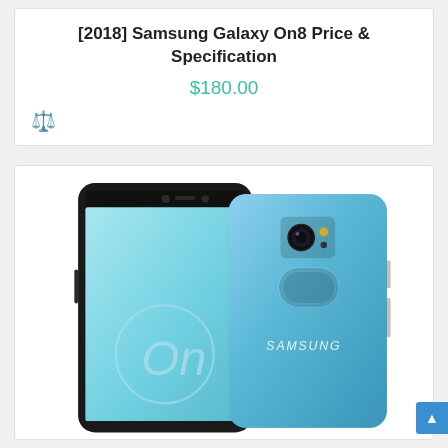[2018] Samsung Galaxy On8 Price & Specification
$180.00
[Figure (photo): Samsung Galaxy On8 smartphone shown from front and back. Front view shows edge-to-edge display with 'On' branding on screen. Back view shows camera, fingerprint sensor, and Samsung logo. Device is blue/silver color.]